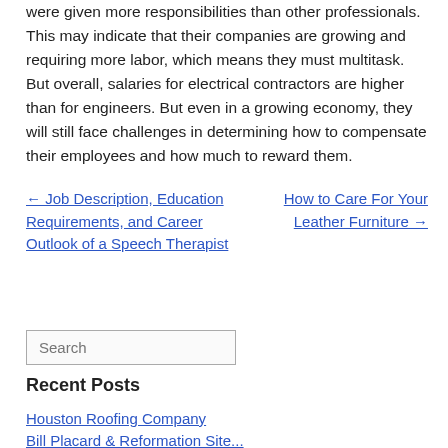were given more responsibilities than other professionals. This may indicate that their companies are growing and requiring more labor, which means they must multitask. But overall, salaries for electrical contractors are higher than for engineers. But even in a growing economy, they will still face challenges in determining how to compensate their employees and how much to reward them.
← Job Description, Education Requirements, and Career Outlook of a Speech Therapist
How to Care For Your Leather Furniture →
Search
Recent Posts
Houston Roofing Company
Bill Placard & Reformation Site...